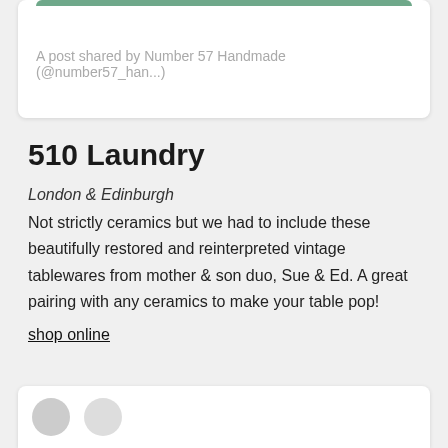A post shared by Number 57 Handmade (@number57_han...)
510 Laundry
London & Edinburgh
Not strictly ceramics but we had to include these beautifully restored and reinterpreted vintage tablewares from mother & son duo, Sue & Ed. A great pairing with any ceramics to make your table pop!
shop online